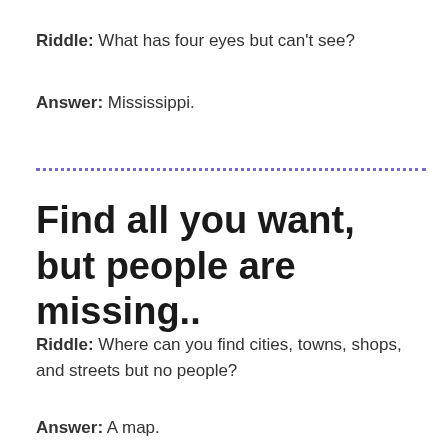Riddle: What has four eyes but can't see?
Answer: Mississippi.
Find all you want, but people are missing..
Riddle: Where can you find cities, towns, shops, and streets but no people?
Answer: A map.